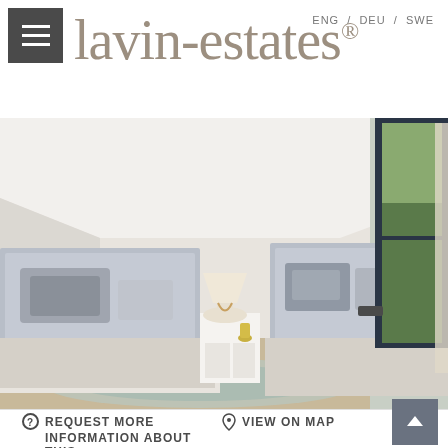ENG / DEU / SWE
lavin-estates®
[Figure (photo): Interior bedroom photo showing two single beds with grey upholstered headboards, grey bedding, and a white bedside table with lamp. Large dark-framed window/door opening to greenery on the right.]
REQUEST MORE INFORMATION ABOUT THIS
VIEW ON MAP